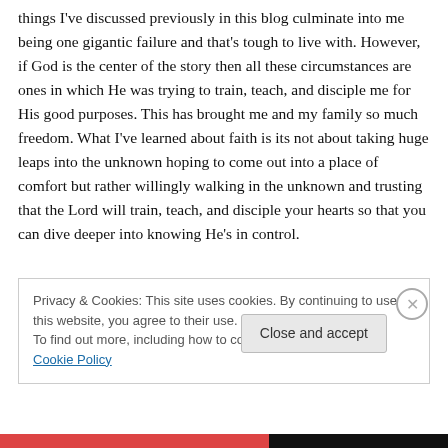things I've discussed previously in this blog culminate into me being one gigantic failure and that's tough to live with. However, if God is the center of the story then all these circumstances are ones in which He was trying to train, teach, and disciple me for His good purposes. This has brought me and my family so much freedom. What I've learned about faith is its not about taking huge leaps into the unknown hoping to come out into a place of comfort but rather willingly walking in the unknown and trusting that the Lord will train, teach, and disciple your hearts so that you can dive deeper into knowing He's in control.
Privacy & Cookies: This site uses cookies. By continuing to use this website, you agree to their use.
To find out more, including how to control cookies, see here: Cookie Policy